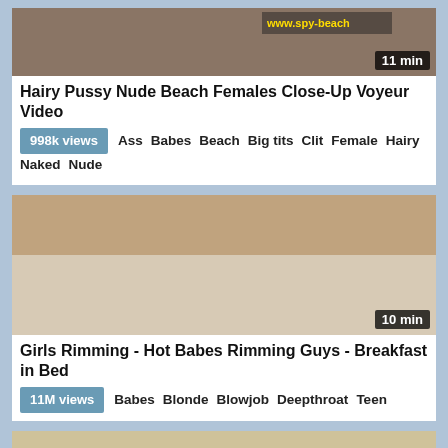[Figure (screenshot): Thumbnail of beach nude video with duration badge '11 min']
Hairy Pussy Nude Beach Females Close-Up Voyeur Video
998k views  Ass  Babes  Beach  Big tits  Clit  Female  Hairy  Naked  Nude
[Figure (screenshot): Thumbnail of bedroom rimming video with duration badge '10 min']
Girls Rimming - Hot Babes Rimming Guys - Breakfast in Bed
11M views  Babes  Blonde  Blowjob  Deepthroat  Teen
[Figure (screenshot): Partial thumbnail of third video showing group scene]